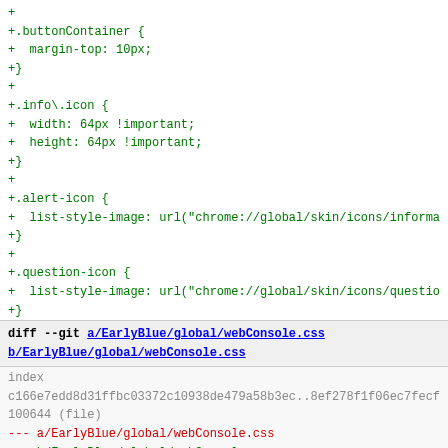CSS diff code showing additions for .buttonContainer, .info\.icon, .alert-icon, .question-icon
diff --git a/EarlyBlue/global/webConsole.css b/EarlyBlue/global/webConsole.css
index c166e7edd8d31ffbc03372c10938de479a58b3ec..8ef278f1f06ec7fecf 100644 (file)
--- a/EarlyBlue/global/webConsole.css +++ b/EarlyBlue/global/webConsole.css
@@ -40,7 +40,7 @@
} 
 .hud-box.animated {
-  -moz-transition: height 350ms;
+  -moz-transition: height 100ms;
 }